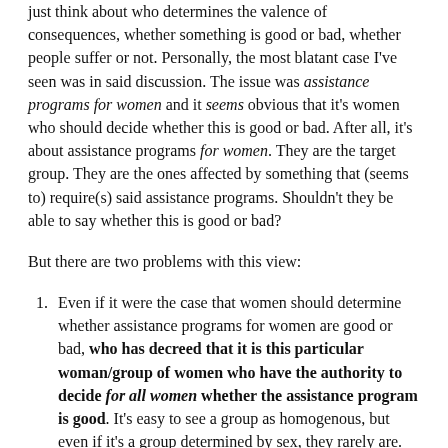just think about who determines the valence of consequences, whether something is good or bad, whether people suffer or not. Personally, the most blatant case I've seen was in said discussion. The issue was assistance programs for women and it seems obvious that it's women who should decide whether this is good or bad. After all, it's about assistance programs for women. They are the target group. They are the ones affected by something that (seems to) require(s) said assistance programs. Shouldn't they be able to say whether this is good or bad?
But there are two problems with this view:
Even if it were the case that women should determine whether assistance programs for women are good or bad, who has decreed that it is this particular woman/group of women who have the authority to decide for all women whether the assistance program is good. It's easy to see a group as homogenous, but even if it's a group determined by sex, they rarely are. Just look at womenagainstfeminism, regarding the topic, for example,